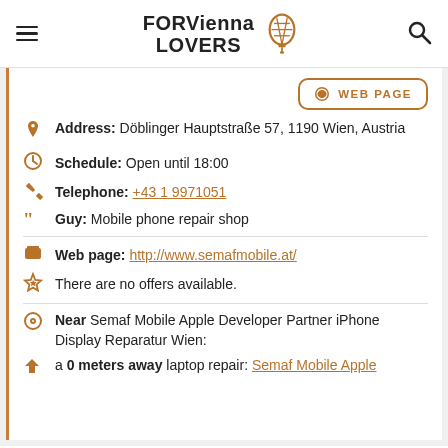FOR Vienna LOVERS [logo with hot air balloon]
WEB PAGE
Address: Döblinger Hauptstraße 57, 1190 Wien, Austria
Schedule: Open until 18:00
Telephone: +43 1 9971051
Guy: Mobile phone repair shop
Web page: http://www.semafmobile.at/
There are no offers available.
Near Semaf Mobile Apple Developer Partner iPhone Display Reparatur Wien:
a 0 meters away laptop repair: Semaf Mobile Apple